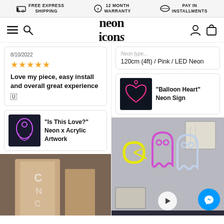FREE EXPRESS SHIPPING | 12 MONTH WARRANTY | PAY IN INSTALLMENTS
[Figure (logo): Neon Icons website logo and navigation bar with hamburger menu, search, account, and cart icons]
8/10/2022
★★★★★
Love my piece, easy install and overall great experience
[Figure (photo): Product review card with a thumbnail of 'Is This Love?' Neon x Acrylic Artwork]
"Is This Love?" Neon x Acrylic Artwork
120cm (4ft) / Pink / LED Neon
[Figure (photo): Thumbnail of Balloon Heart neon sign product]
"Balloon Heart" Neon Sign
[Figure (photo): Photo of a white neon sign in packaging/cardboard box]
[Figure (photo): Photo of Pac-Man themed neon signs on a wall — yellow Pacman, pink ghost, white ghost — neon icons display with messenger button overlay]